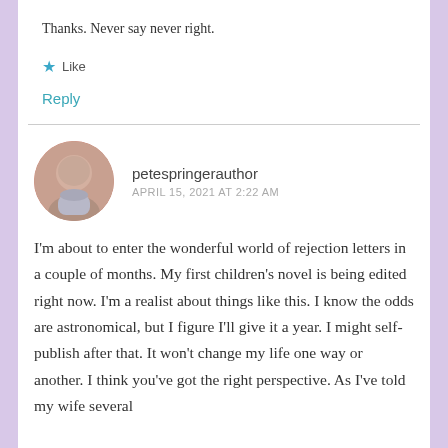Thanks. Never say never right.
★ Like
Reply
petespringerauthor
APRIL 15, 2021 AT 2:22 AM
I'm about to enter the wonderful world of rejection letters in a couple of months. My first children's novel is being edited right now. I'm a realist about things like this. I know the odds are astronomical, but I figure I'll give it a year. I might self-publish after that. It won't change my life one way or another. I think you've got the right perspective. As I've told my wife several